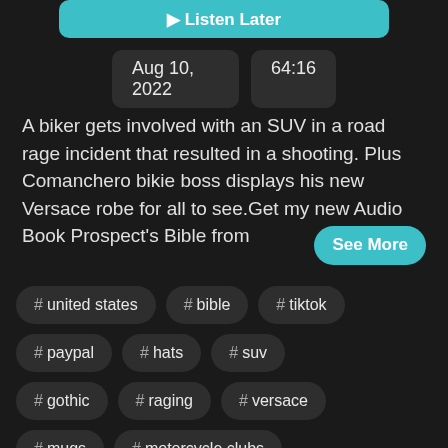Listen Later
Aug 10, 2022   64:16
A biker gets involved with an SUV in a road rage incident that resulted in a shooting. Plus Comanchero bikie boss displays his new Versace robe for all to see.Get my new Audio Book Prospect's Bible from See More
# united states
# bible
# tiktok
# paypal
# hats
# suv
# gothic
# raging
# versace
# mugs
# motorcycle clubs